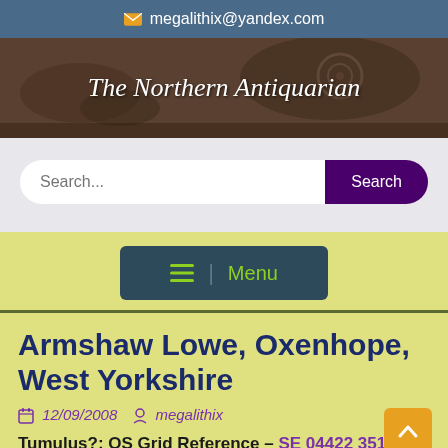megalithix@yandex.com
[Figure (illustration): Banner image with stone cup-and-ring marks, titled 'The Northern Antiquarian' in italic white text]
[Figure (screenshot): Search bar with placeholder 'Search...' and a purple 'Search' button]
[Figure (infographic): Yellow background with teal menu button showing hamburger icon and 'Menu' text in green]
Armshaw Lowe, Oxenhope, West Yorkshire
12/09/2008  megalithix
Tumulus?: OS Grid Reference – SE 04422 35130